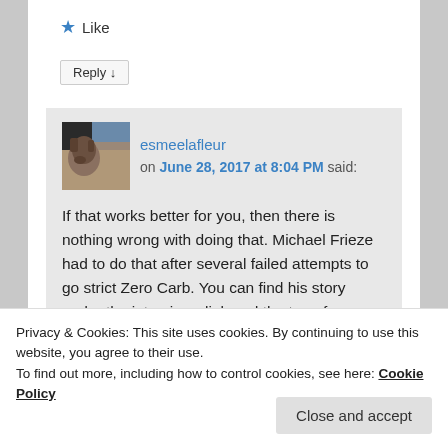★ Like
Reply ↓
esmeelafleur on June 28, 2017 at 8:04 PM said:
If that works better for you, then there is nothing wrong with doing that. Michael Frieze had to do that after several failed attempts to go strict Zero Carb. You can find his story under the interviews link and the top of my blog.
Privacy & Cookies: This site uses cookies. By continuing to use this website, you agree to their use.
To find out more, including how to control cookies, see here: Cookie Policy